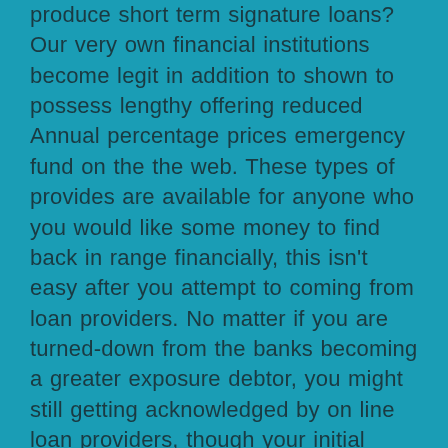produce short term signature loans? Our very own financial institutions become legit in addition to shown to possess lengthy offering reduced Annual percentage prices emergency fund on the the web. These types of provides are available for anyone who you would like some money to find back in range financially, this isn't easy after you attempt to coming from loan providers. No matter if you are turned-down from the banks becoming a greater exposure debtor, you might still getting acknowledged by on line loan providers, though your initial mortgage ount out of. This is often gradually increased next time your apply to get a subsequently bank loan.
Putting factors into views, simple acceptance repayment fund are designed for instantaneous borrowing from the bank. Although several creditors could well be prepared to give the money without